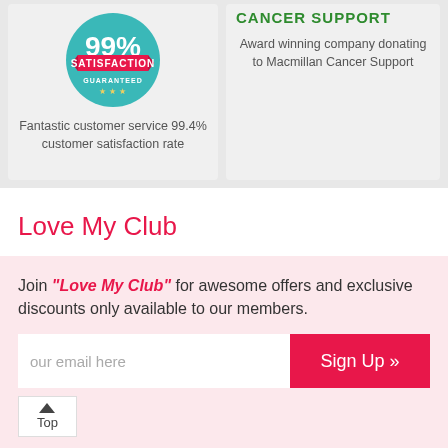[Figure (illustration): Teal circular badge with 99% in large white text, SATISFACTION in white on a pink ribbon banner, GUARANTEED in smaller white text, and three yellow stars below]
Fantastic customer service 99.4% customer satisfaction rate
CANCER SUPPORT
Award winning company donating to Macmillan Cancer Support
Love My Club
Join "Love My Club" for awesome offers and exclusive discounts only available to our members.
our email here
Sign Up »
Top